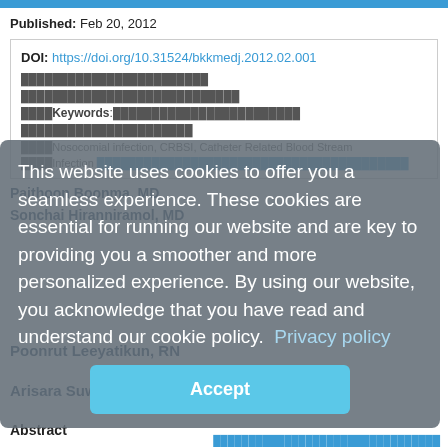Published: Feb 20, 2012
DOI: https://doi.org/10.31524/bkkmedj.2012.02.001
(Thai text abstract content)
Keywords: Nosocomial infection, CRBSI, Catheter Related Blood Stream Infection
This website uses cookies to offer you a seamless experience. These cookies are essential for running our website and are key to providing you a smoother and more personalized experience. By using our website, you acknowledge that you have read and understand our cookie policy. Privacy policy
Paithoon Boonma, MD
Sonchai Hiranniramol, MD
Poonrut Leeyatikun, RN
Arisara Suwanarit, RN